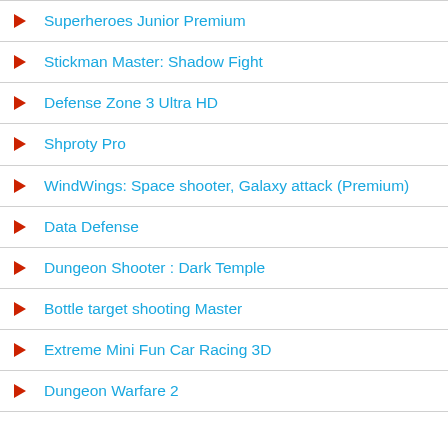Superheroes Junior Premium
Stickman Master: Shadow Fight
Defense Zone 3 Ultra HD
Shproty Pro
WindWings: Space shooter, Galaxy attack (Premium)
Data Defense
Dungeon Shooter : Dark Temple
Bottle target shooting Master
Extreme Mini Fun Car Racing 3D
Dungeon Warfare 2